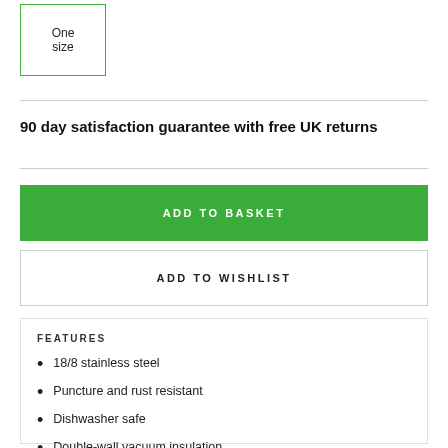[Figure (other): Size selector box with 'One size' label, green border]
90 day satisfaction guarantee with free UK returns
ADD TO BASKET
ADD TO WISHLIST
FEATURES
18/8 stainless steel
Puncture and rust resistant
Dishwasher safe
Double-wall vacuum insulation
Keeps cold drinks cold, and hot drinks hot